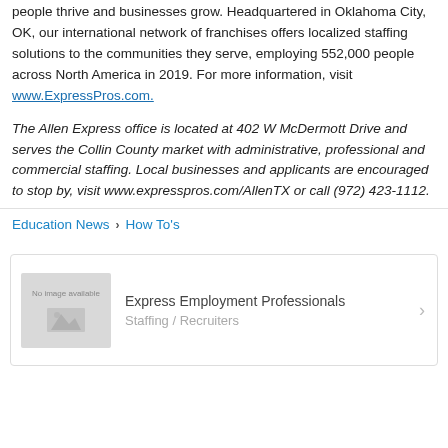people thrive and businesses grow. Headquartered in Oklahoma City, OK, our international network of franchises offers localized staffing solutions to the communities they serve, employing 552,000 people across North America in 2019. For more information, visit www.ExpressPros.com.
The Allen Express office is located at 402 W McDermott Drive and serves the Collin County market with administrative, professional and commercial staffing. Local businesses and applicants are encouraged to stop by, visit www.expresspros.com/AllenTX or call (972) 423-1112.
Education News › How To's
Express Employment Professionals — Staffing / Recruiters